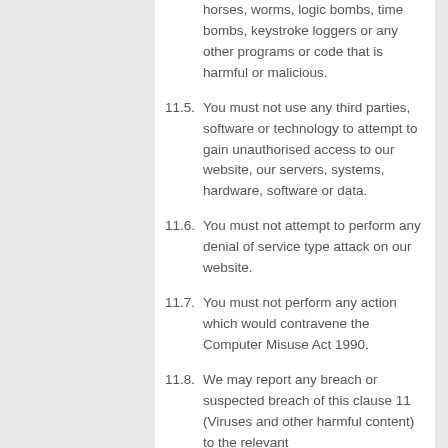horses, worms, logic bombs, time bombs, keystroke loggers or any other programs or code that is harmful or malicious.
11.5. You must not use any third parties, software or technology to attempt to gain unauthorised access to our website, our servers, systems, hardware, software or data.
11.6. You must not attempt to perform any denial of service type attack on our website.
11.7. You must not perform any action which would contravene the Computer Misuse Act 1990.
11.8. We may report any breach or suspected breach of this clause 11 (Viruses and other harmful content) to the relevant